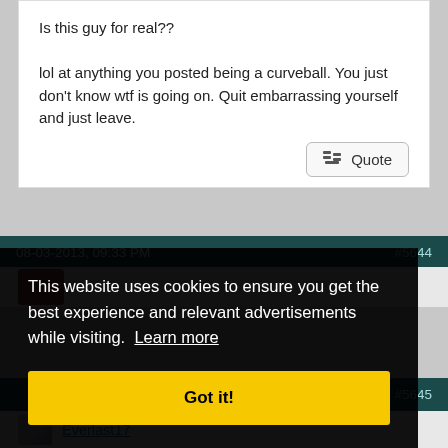Is this guy for real??

lol at anything you posted being a curveball. You just don't know wtf is going on. Quit embarrassing yourself and just leave.
Quote
08-03-2013, 09:33 PM  #5644
This website uses cookies to ensure you get the best experience and relevant advertisements while visiting. Learn more
Got it!
#5645
Everlast17